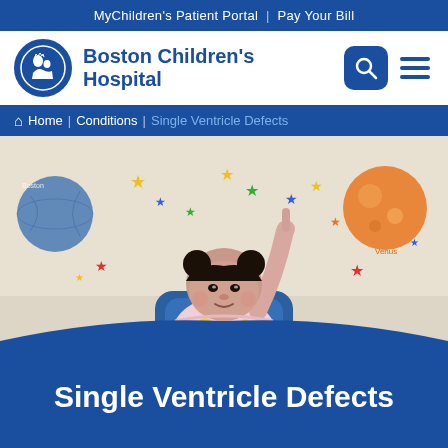MyChildren's Patient Portal | Pay Your Bill
[Figure (logo): Boston Children's Hospital logo with circular emblem and hospital name]
Home | Conditions | Single Ventricle Defects
[Figure (photo): A young toddler girl with two buns hairstyle, wearing a pink and yellow outfit, sitting in a blue chair and pointing upward with one finger. The background wall has colorful stars and planet decorations including a globe and an orange planet.]
Single Ventricle Defects